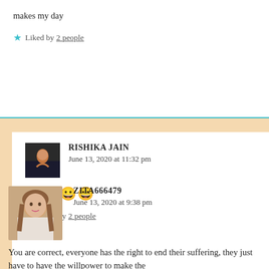makes my day
★ Liked by 2 people
RISHIKA JAIN
June 13, 2020 at 11:32 pm
😀😀😀😀
★ Liked by 2 people
ZITA666479
June 13, 2020 at 9:38 pm
You are correct, everyone has the right to end their suffering, they just have to have the willpower to make the